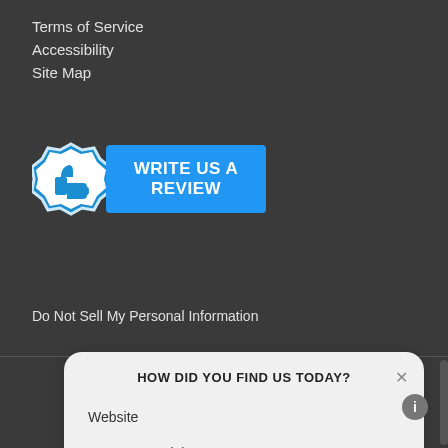Terms of Service
Accessibility
Site Map
[Figure (illustration): Blue thumbs-up badge icon with 'WRITE US A REVIEW' button in blue]
Do Not Sell My Personal Information
HOW DID YOU FIND US TODAY?
Website
TV Commercials
Facebook